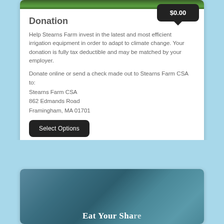[Figure (photo): Top portion of a plant/crop field photo visible at top of card]
$0.00
Donation
Help Stearns Farm invest in the latest and most efficient irrigation equipment in order to adapt to climate change. Your donation is fully tax deductible and may be matched by your employer.
Donate online or send a check made out to Stearns Farm CSA to:
Stearns Farm CSA
862 Edmands Road
Framingham, MA 01701
Select Options
[Figure (photo): Bottom card showing a teal/blue-green textured background with partial text 'Eat Your Share' visible]